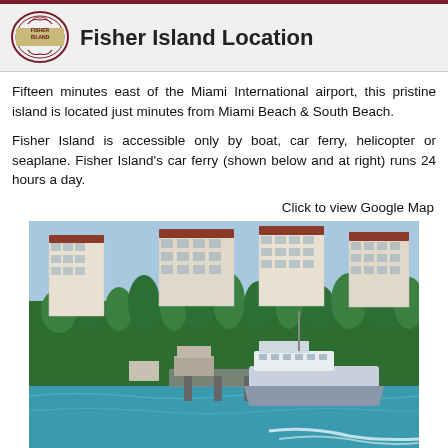Fisher Island Location
Fifteen minutes east of the Miami International airport, this pristine island is located just minutes from Miami Beach & South Beach.
Fisher Island is accessible only by boat, car ferry, helicopter or seaplane. Fisher Island's car ferry (shown below and at right) runs 24 hours a day.
Click to view Google Map
[Figure (photo): Aerial/waterfront view of Fisher Island showing residential buildings, lush palm trees, and a car ferry docked at the pier with turquoise water in the foreground.]